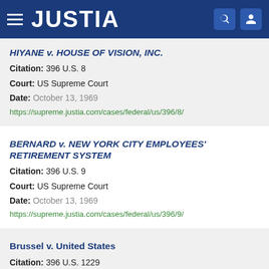JUSTIA
HIYANE v. HOUSE OF VISION, INC.
Citation: 396 U.S. 8
Court: US Supreme Court
Date: October 13, 1969
https://supreme.justia.com/cases/federal/us/396/8/
BERNARD v. NEW YORK CITY EMPLOYEES' RETIREMENT SYSTEM
Citation: 396 U.S. 9
Court: US Supreme Court
Date: October 13, 1969
https://supreme.justia.com/cases/federal/us/396/9/
Brussel v. United States
Citation: 396 U.S. 1229